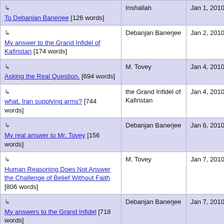| Title | Author | Date |
| --- | --- | --- |
| ↳ To Debanjan Banerjee [126 words] | Inshallah | Jan 1, 2010 20:30 |
| ↳ My answer to the Grand Infidel of Kafiristan [174 words] | Debanjan Banerjee | Jan 2, 2010 12:55 |
| ↳ Asking the Real Question. [694 words] | M. Tovey | Jan 4, 2010 14:07 |
| ↳ what, Iran supplying arms? [744 words] | the Grand Infidel of Kafiristan | Jan 4, 2010 15:36 |
| ↳ My real answer to Mr. Tovey [156 words] | Debanjan Banerjee | Jan 6, 2010 12:05 |
| ↳ Human Reasoning Does Not Answer the Challenge of Belief Without Faith [806 words] | M. Tovey | Jan 7, 2010 18:45 |
| ↳ My answers to the Grand Infidel [718 words] | Debanjan Banerjee | Jan 7, 2010 21:59 |
| ↳ Iran etc [1834 words] | the Grand Infidel of Kaffiristan | Jan 9, 2010 23:09 |